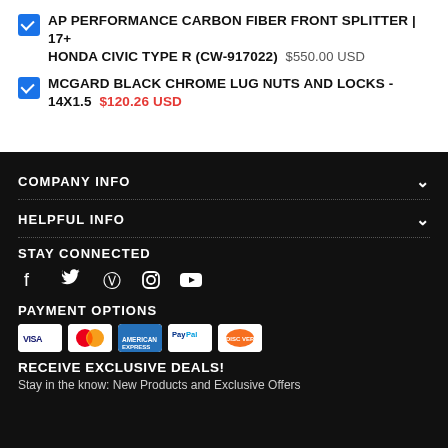AP PERFORMANCE CARBON FIBER FRONT SPLITTER | 17+ HONDA CIVIC TYPE R (CW-917022) $550.00 USD
MCGARD BLACK CHROME LUG NUTS AND LOCKS - 14X1.5 $120.26 USD
COMPANY INFO
HELPFUL INFO
STAY CONNECTED
[Figure (infographic): Social media icons: Facebook, Twitter, Pinterest, Instagram, YouTube]
PAYMENT OPTIONS
[Figure (infographic): Payment card icons: Visa, Mastercard, American Express, PayPal, Discover]
RECEIVE EXCLUSIVE DEALS!
Stay in the know: New Products and Exclusive Offers